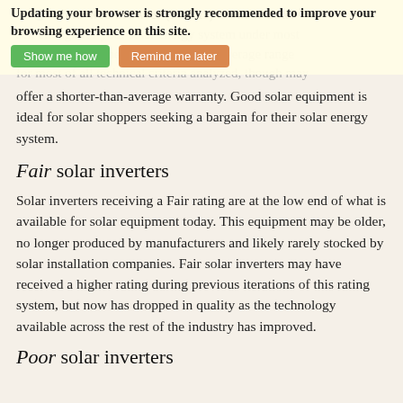Solar inverters — Your web browser (IOS 11) is out of date. Updating your browser is strongly recommended to improve your browsing experience on this site. sell enough for your solar energy system under most circumstances. These inverters in the average range for most of all technical criteria analyzed, though may offer a shorter-than-average warranty. Good solar equipment is ideal for solar shoppers seeking a bargain for their solar energy system.
Fair solar inverters
Solar inverters receiving a Fair rating are at the low end of what is available for solar equipment today. This equipment may be older, no longer produced by manufacturers and likely rarely stocked by solar installation companies. Fair solar inverters may have received a higher rating during previous iterations of this rating system, but now has dropped in quality as the technology available across the rest of the industry has improved.
Poor solar inverters